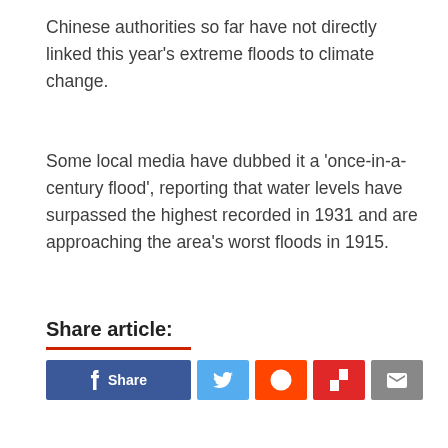Chinese authorities so far have not directly linked this year's extreme floods to climate change.
Some local media have dubbed it a 'once-in-a-century flood', reporting that water levels have surpassed the highest recorded in 1931 and are approaching the area's worst floods in 1915.
Share article:
[Figure (other): Social share buttons: Facebook Share, Twitter, Reddit, Flipboard, Email]